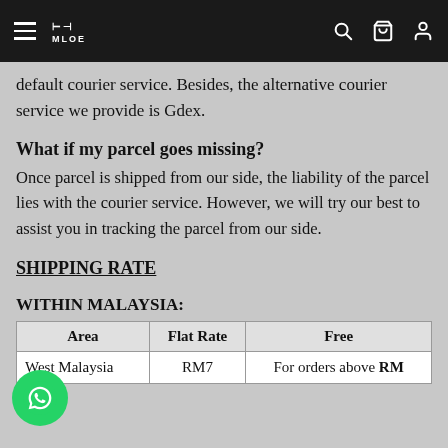MLOE [navigation bar with hamburger menu, logo, search, cart, and account icons]
default courier service. Besides, the alternative courier service we provide is Gdex.
What if my parcel goes missing?
Once parcel is shipped from our side, the liability of the parcel lies with the courier service. However, we will try our best to assist you in tracking the parcel from our side.
SHIPPING RATE
WITHIN MALAYSIA:
| Area | Flat Rate | Free |
| --- | --- | --- |
| West Malaysia | RM7 | For orders above RM |
| East Malaysia | RM10 | For orders above RM |